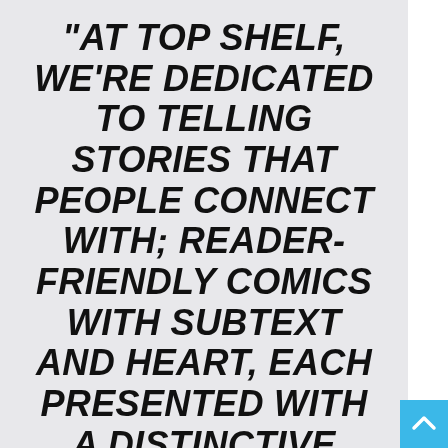“AT TOP SHELF, WE’RE DEDICATED TO TELLING STORIES THAT PEOPLE CONNECT WITH; READER-FRIENDLY COMICS WITH SUBTEXT AND HEART, EACH PRESENTED WITH A DISTINCTIVE VISUAL STYLE,” EXPLAINED TOP SHELF PUBLISHER CHRIS